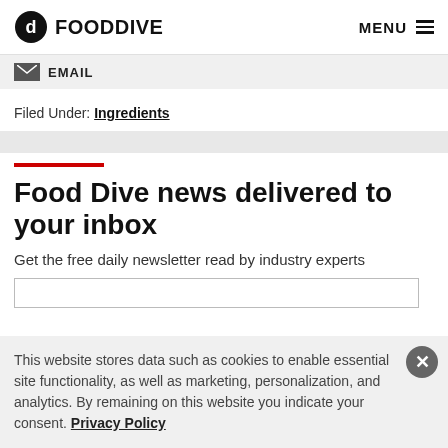FOOD DIVE  MENU
EMAIL
Filed Under: Ingredients
Food Dive news delivered to your inbox
Get the free daily newsletter read by industry experts
This website stores data such as cookies to enable essential site functionality, as well as marketing, personalization, and analytics. By remaining on this website you indicate your consent. Privacy Policy